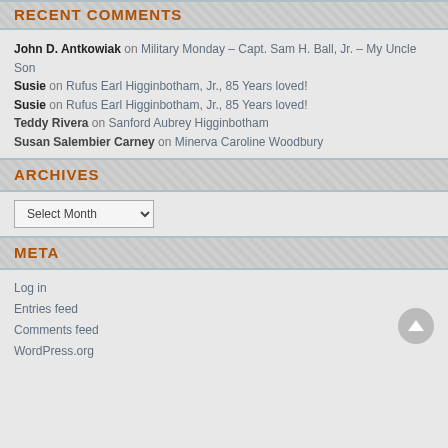RECENT COMMENTS
John D. Antkowiak on Military Monday – Capt. Sam H. Ball, Jr. – My Uncle Son
Susie on Rufus Earl Higginbotham, Jr., 85 Years loved!
Susie on Rufus Earl Higginbotham, Jr., 85 Years loved!
Teddy Rivera on Sanford Aubrey Higginbotham
Susan Salembier Carney on Minerva Caroline Woodbury
ARCHIVES
Select Month
META
Log in
Entries feed
Comments feed
WordPress.org